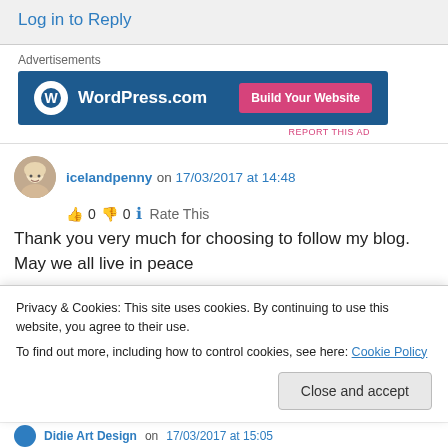Log in to Reply
Advertisements
[Figure (screenshot): WordPress.com banner ad with logo on left and 'Build Your Website' pink button on right, dark blue background]
REPORT THIS AD
icelandpenny on 17/03/2017 at 14:48
👍 0 👎 0 ℹ Rate This
Thank you very much for choosing to follow my blog. May we all live in peace
Privacy & Cookies: This site uses cookies. By continuing to use this website, you agree to their use.
To find out more, including how to control cookies, see here: Cookie Policy
Close and accept
Didie Art Design on 17/03/2017 at 15:05